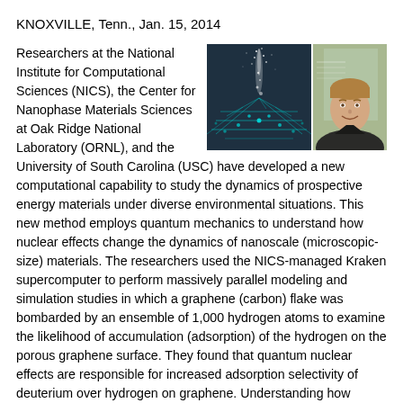KNOXVILLE, Tenn., Jan. 15, 2014
[Figure (photo): Two photos side by side: left shows a dark visualization of a graphene lattice with light particles above it (cyan network on dark background); right shows a smiling young man in front of a poster presentation.]
Researchers at the National Institute for Computational Sciences (NICS), the Center for Nanophase Materials Sciences at Oak Ridge National Laboratory (ORNL), and the University of South Carolina (USC) have developed a new computational capability to study the dynamics of prospective energy materials under diverse environmental situations. This new method employs quantum mechanics to understand how nuclear effects change the dynamics of nanoscale (microscopic-size) materials. The researchers used the NICS-managed Kraken supercomputer to perform massively parallel modeling and simulation studies in which a graphene (carbon) flake was bombarded by an ensemble of 1,000 hydrogen atoms to examine the likelihood of accumulation (adsorption) of the hydrogen on the porous graphene surface. They found that quantum nuclear effects are responsible for increased adsorption selectivity of deuterium over hydrogen on graphene. Understanding how materials with light nuclei—most especially hydrogen—behave on nanoporous surfaces is essential in the design of new materials for energy science applications.